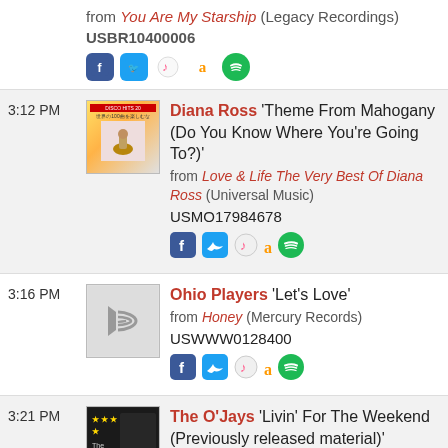from You Are My Starship (Legacy Recordings) USBR10400006
3:12 PM — Diana Ross 'Theme From Mahogany (Do You Know Where You're Going To?)' from Love & Life The Very Best Of Diana Ross (Universal Music) USMO17984678
3:16 PM — Ohio Players 'Let's Love' from Honey (Mercury Records) USWWW0128400
3:21 PM — The O'Jays 'Livin' For The Weekend (Previously released material)' from The Philly Sound: Kenny